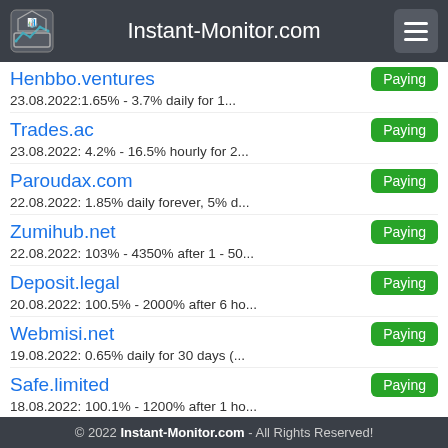Instant-Monitor.com
Henbbo.ventures | Paying | 23.08.2022:1.65% - 3.7% daily for 1...
Trades.ac | Paying | 23.08.2022: 4.2% - 16.5% hourly for 2...
Paroudax.com | Paying | 22.08.2022: 1.85% daily forever, 5% d...
Zumihub.net | Paying | 22.08.2022: 103% - 4350% after 1 - 50...
Deposit.legal | Paying | 20.08.2022: 100.5% - 2000% after 6 ho...
Webmisi.net | Paying | 19.08.2022: 0.65% daily for 30 days (...
Safe.limited | Paying | 18.08.2022: 100.1% - 1200% after 1 ho...
Metamillion.ventures | Paying
© 2022 Instant-Monitor.com - All Rights Reserved!